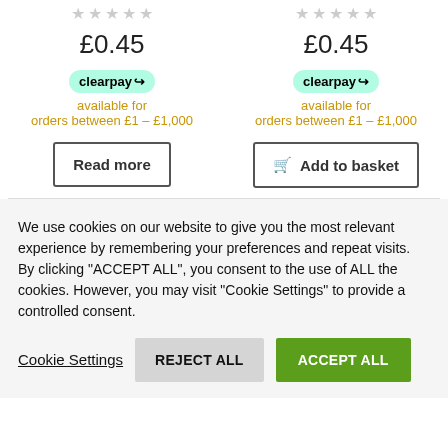★★★★★ (empty stars) — product rating left
£0.45
clearpay available for orders between £1 – £1,000
Read more
★★★★★ (empty stars) — product rating right
£0.45
clearpay available for orders between £1 – £1,000
Add to basket
We use cookies on our website to give you the most relevant experience by remembering your preferences and repeat visits. By clicking "ACCEPT ALL", you consent to the use of ALL the cookies. However, you may visit "Cookie Settings" to provide a controlled consent.
Cookie Settings
REJECT ALL
ACCEPT ALL